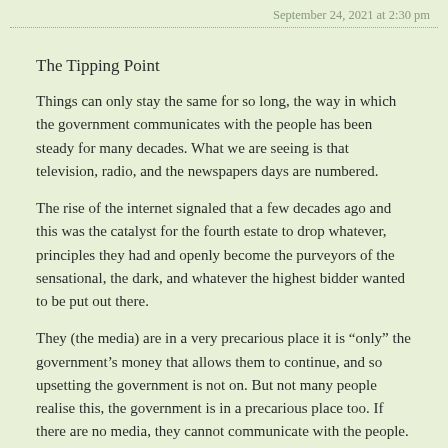September 24, 2021 at 2:30 pm
The Tipping Point
Things can only stay the same for so long, the way in which the government communicates with the people has been steady for many decades. What we are seeing is that television, radio, and the newspapers days are numbered.
The rise of the internet signaled that a few decades ago and this was the catalyst for the fourth estate to drop whatever, principles they had and openly become the purveyors of the sensational, the dark, and whatever the highest bidder wanted to be put out there.
They (the media) are in a very precarious place it is “only” the government’s money that allows them to continue, and so upsetting the government is not on. But not many people realise this, the government is in a precarious place too. If there are no media, they cannot communicate with the people.